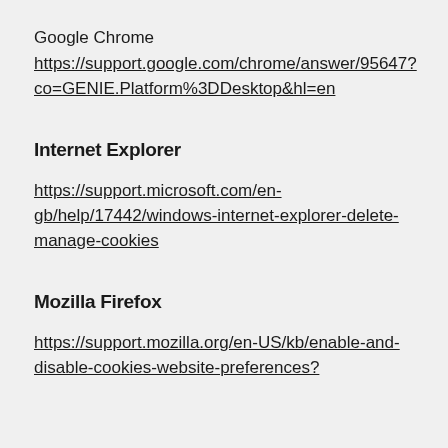Google Chrome
https://support.google.com/chrome/answer/95647?co=GENIE.Platform%3DDesktop&hl=en
Internet Explorer
https://support.microsoft.com/en-gb/help/17442/windows-internet-explorer-delete-manage-cookies
Mozilla Firefox
https://support.mozilla.org/en-US/kb/enable-and-disable-cookies-website-preferences?